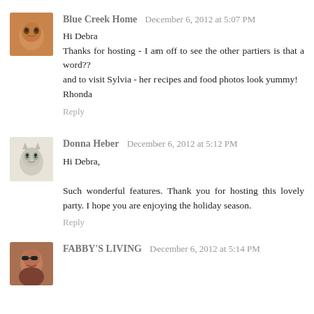Blue Creek Home  December 6, 2012 at 5:07 PM
Hi Debra
Thanks for hosting - I am off to see the other partiers is that a word??
and to visit Sylvia - her recipes and food photos look yummy!
Rhonda
Reply
Donna Heber  December 6, 2012 at 5:12 PM
Hi Debra,

Such wonderful features. Thank you for hosting this lovely party. I hope you are enjoying the holiday season.
Reply
FABBY'S LIVING  December 6, 2012 at 5:14 PM